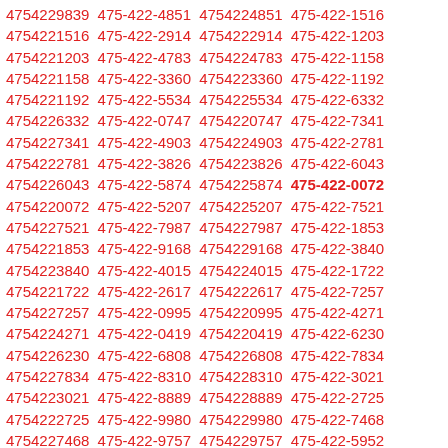4754229839 475-422-4851 4754224851 475-422-1516 4754221516 475-422-2914 4754222914 475-422-1203 4754221203 475-422-4783 4754224783 475-422-1158 4754221158 475-422-3360 4754223360 475-422-1192 4754221192 475-422-5534 4754225534 475-422-6332 4754226332 475-422-0747 4754220747 475-422-7341 4754227341 475-422-4903 4754224903 475-422-2781 4754222781 475-422-3826 4754223826 475-422-6043 4754226043 475-422-5874 4754225874 475-422-0072 4754220072 475-422-5207 4754225207 475-422-7521 4754227521 475-422-7987 4754227987 475-422-1853 4754221853 475-422-9168 4754229168 475-422-3840 4754223840 475-422-4015 4754224015 475-422-1722 4754221722 475-422-2617 4754222617 475-422-7257 4754227257 475-422-0995 4754220995 475-422-4271 4754224271 475-422-0419 4754220419 475-422-6230 4754226230 475-422-6808 4754226808 475-422-7834 4754227834 475-422-8310 4754228310 475-422-3021 4754223021 475-422-8889 4754228889 475-422-2725 4754222725 475-422-9980 4754229980 475-422-7468 4754227468 475-422-9757 4754229757 475-422-5952 4754225952 475-422-6156 4754226156 475-422-9284 4754229284 475-422-7741 4754227741 475-422-3755 4754223755 475-422-8122 4754228122 475-422-0170 4754220170 475-422-1009 4754221009 475-422-9147